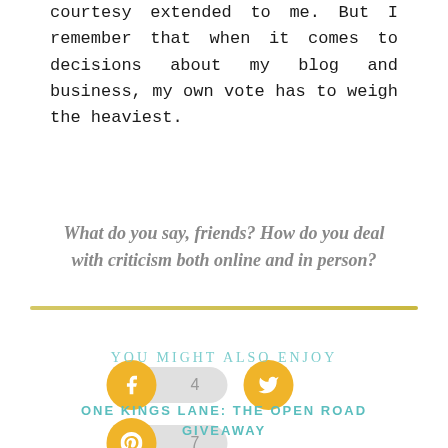courtesy extended to me. But I remember that when it comes to decisions about my blog and business, my own vote has to weigh the heaviest.
What do you say, friends? How do you deal with criticism both online and in person?
[Figure (infographic): Social share buttons: Facebook with count 4, Twitter icon, Pinterest with count 7]
YOU MIGHT ALSO ENJOY
ONE KINGS LANE: THE OPEN ROAD GIVEAWAY